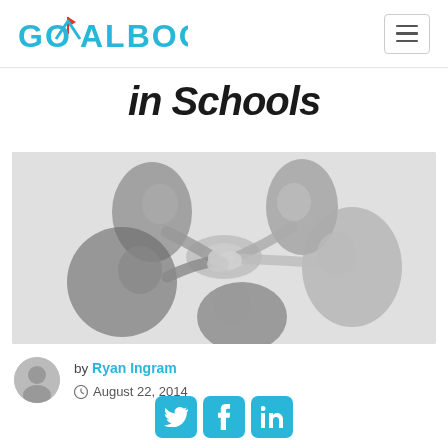GOALBOOK
in Schools
[Figure (photo): Black and white overhead photo of a group of children and an adult reaching hands into the center in a team huddle gesture]
by Ryan Ingram
© August 22, 2014
[Figure (infographic): Social media share icons: Twitter, Facebook, LinkedIn in teal/cyan color]